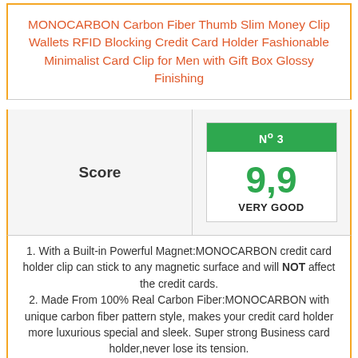MONOCARBON Carbon Fiber Thumb Slim Money Clip Wallets RFID Blocking Credit Card Holder Fashionable Minimalist Card Clip for Men with Gift Box Glossy Finishing
| Score | Nº 3 / 9,9 / VERY GOOD |
| --- | --- |
1. With a Built-in Powerful Magnet:MONOCARBON credit card holder clip can stick to any magnetic surface and will NOT affect the credit cards.
2. Made From 100% Real Carbon Fiber:MONOCARBON with unique carbon fiber pattern style, makes your credit card holder more luxurious special and sleek. Super strong Business card holder,never lose its tension.
3. Slim Size:Light weight, this minimal credit card clip will keep tiny body, keep your cards neat and orderly. And its RFID blocking function can insure your personal property safe.